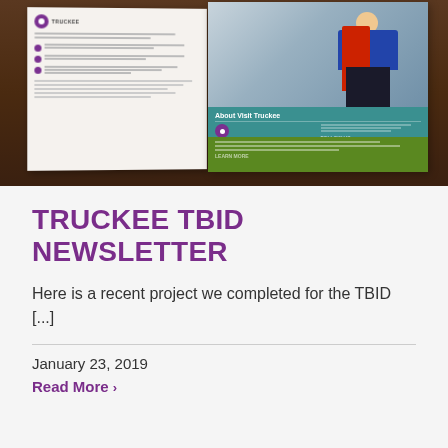[Figure (photo): Photo of an open Truckee TBID newsletter/brochure lying on a wooden table, showing pages with the Truckee logo, text columns, a photo of a person in a red and blue jacket, and green/teal panel sections.]
TRUCKEE TBID NEWSLETTER
Here is a recent project we completed for the TBID [...]
January 23, 2019
Read More >